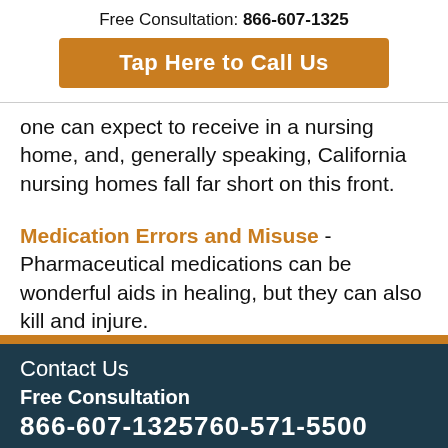Free Consultation: 866-607-1325
Tap Here to Call Us
one can expect to receive in a nursing home, and, generally speaking, California nursing homes fall far short on this front.
Medication Errors and Misuse - Pharmaceutical medications can be wonderful aids in healing, but they can also kill and injure.
Contact Us
Free Consultation
866-607-1325760-571-5500